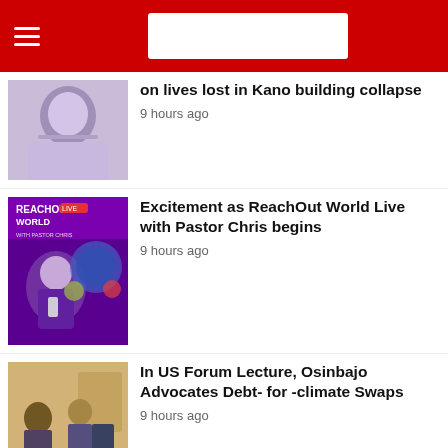News website header with hamburger menu and search box
on lives lost in Kano building collapse
9 hours ago
Excitement as ReachOut World Live with Pastor Chris begins
9 hours ago
In US Forum Lecture, Osinbajo Advocates Debt- for -climate Swaps
9 hours ago
PDP Governorship Candidate